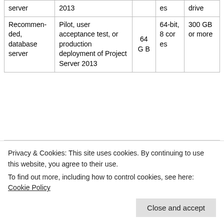|  |  |  |  |  |
| --- | --- | --- | --- | --- |
| server | 2013 |  | es | drive |
| Recommended, database server | Pilot, user acceptance test, or production deployment of Project Server 2013 |  | 64-bit, 8 cores | 300 GB or more |
Note: Ideally, you should separate and prioritize data among disks. Place your data files and your
Privacy & Cookies: This site uses cookies. By continuing to use this website, you agree to their use.
To find out more, including how to control cookies, see here: Cookie Policy